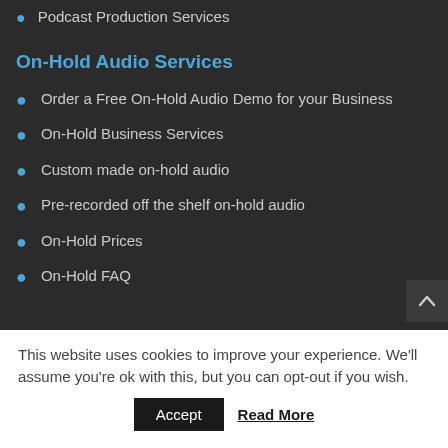Podcast Production Services
On-Hold Audio Services
Order a Free On-Hold Audio Demo for your Business
On-Hold Business Services
Custom made on-hold audio
Pre-recorded off the shelf on-hold audio
On-Hold Prices
On-Hold FAQ
This website uses cookies to improve your experience. We'll assume you're ok with this, but you can opt-out if you wish.
Accept  Read More